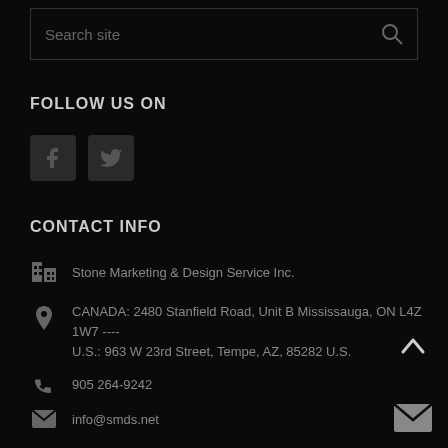Search site
FOLLOW US ON
[Figure (illustration): Facebook and Twitter social media icon buttons]
CONTACT INFO
Stone Marketing & Design Service Inc.
CANADA: 2480 Stanfield Road, Unit B Mississauga, ON L4Z 1W7 ---- U.S.: 963 W 23rd Street, Tempe, AZ, 85282 U.S.
905 264-9242
info@smds.net